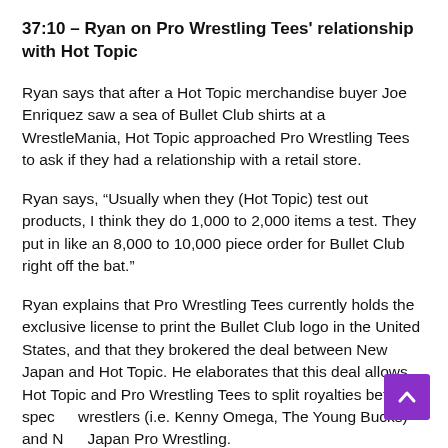37:10 – Ryan on Pro Wrestling Tees' relationship with Hot Topic
Ryan says that after a Hot Topic merchandise buyer Joe Enriquez saw a sea of Bullet Club shirts at a WrestleMania, Hot Topic approached Pro Wrestling Tees to ask if they had a relationship with a retail store.
Ryan says, “Usually when they (Hot Topic) test out products, I think they do 1,000 to 2,000 items a test. They put in like an 8,000 to 10,000 piece order for Bullet Club right off the bat.”
Ryan explains that Pro Wrestling Tees currently holds the exclusive license to print the Bullet Club logo in the United States, and that they brokered the deal between New Japan and Hot Topic. He elaborates that this deal allows Hot Topic and Pro Wrestling Tees to split royalties between specific wrestlers (i.e. Kenny Omega, The Young Bucks) and New Japan Pro Wrestling.